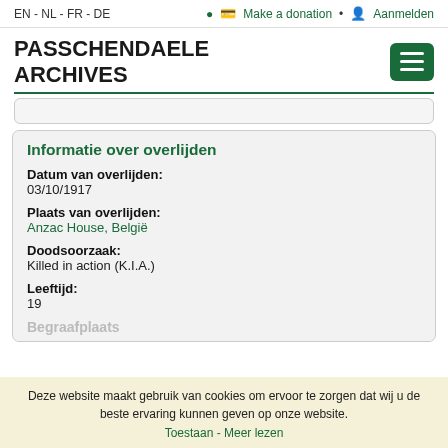EN - NL - FR - DE   Make a donation  •  Aanmelden
PASSCHENDAELE ARCHIVES
Informatie over overlijden
Datum van overlijden:
03/10/1917
Plaats van overlijden:
Anzac House, België
Doodsoorzaak:
Killed in action (K.I.A.)
Leeftijd:
19
Begraafplaats
Deze website maakt gebruik van cookies om ervoor te zorgen dat wij u de beste ervaring kunnen geven op onze website.
Toestaan - Meer lezen